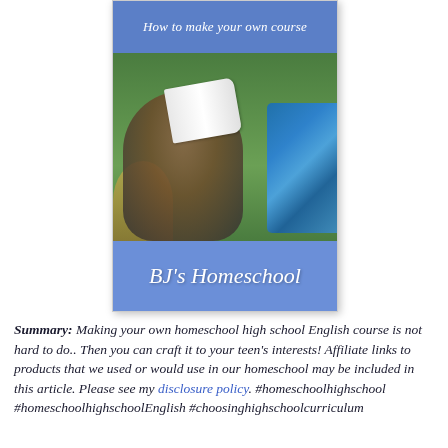[Figure (illustration): Book cover for BJ's Homeschool blog post titled 'How to make your own course'. Shows a child lying on grass reading an open book, with a blue blanket/scarf nearby and a hay bale. The cover has a blue top band with italic subtitle text and a blue bottom band with cursive brand name.]
Summary:  Making your own homeschool high school English course is not hard to do..  Then you can craft it to your teen's interests! Affiliate links to products that we used or would use in our homeschool may be included in this article.  Please see my disclosure policy. #homeschoolhighschool #homeschoolhighschoolEnglish #choosinghighschoolcurriculum